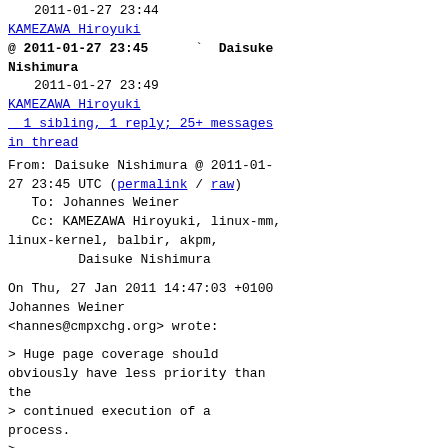2011-01-27 23:44
KAMEZAWA Hiroyuki
@ 2011-01-27 23:45  ` Daisuke Nishimura
2011-01-27 23:49
KAMEZAWA Hiroyuki
1 sibling, 1 reply; 25+ messages in thread
From: Daisuke Nishimura @ 2011-01-27 23:45 UTC (permalink / raw)
  To: Johannes Weiner
  Cc: KAMEZAWA Hiroyuki, linux-mm, linux-kernel, balbir, akpm,
        Daisuke Nishimura
On Thu, 27 Jan 2011 14:47:03 +0100 Johannes Weiner <hannes@cmpxchg.org> wrote:
> Huge page coverage should obviously have less priority than the
> continued execution of a process.
>
> Never kill a process when charging it a huge page fails. Instead,
> give up after the first failed reclaim attempt and fall back to